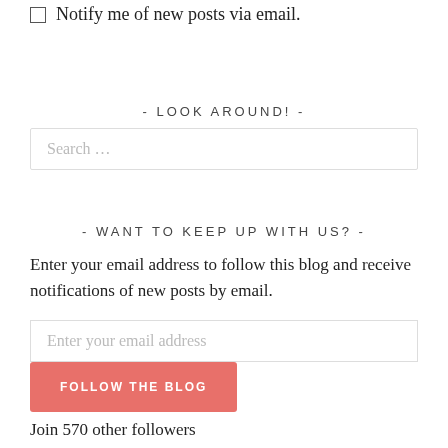Notify me of new posts via email.
- LOOK AROUND! -
Search …
- WANT TO KEEP UP WITH US? -
Enter your email address to follow this blog and receive notifications of new posts by email.
Enter your email address
FOLLOW THE BLOG
Join 570 other followers